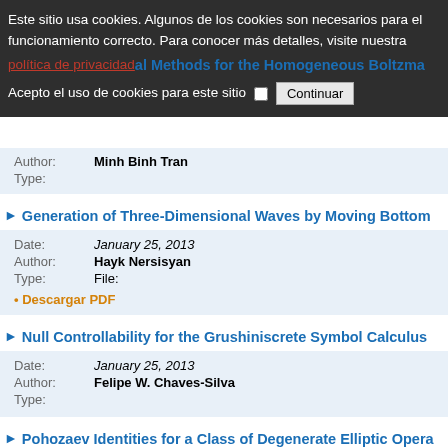Author: Minh Binh Tran
Type:
Generation of Three-Dimensional Waves by Moving Bottom
Date: January 25, 2013
Author: Hayk Nersisyan
Type: File:
• Descargar PDF
Null Controllability for the Grushiniscrete Symbol Calculus
Date: January 25, 2013
Author: Felipe W. Chaves-Silva
Type:
Pohozaev Identities for a Class of Degenerate Elliptic Opera
Date: January 22, 2013
Author: